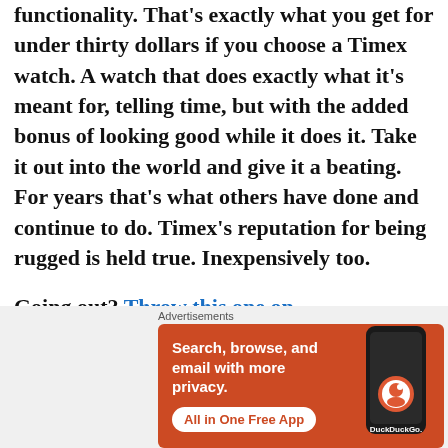functionality. That's exactly what you get for under thirty dollars if you choose a Timex watch. A watch that does exactly what it's meant for, telling time, but with the added bonus of looking good while it does it. Take it out into the world and give it a beating. For years that's what others have done and continue to do. Timex's reputation for being rugged is held true. Inexpensively too.
Going out? Throw this one on.
Timex Weekender in Olive, Unisex wrist watch, 38mm
[Figure (screenshot): DuckDuckGo advertisement banner with orange background. Text: 'Search, browse, and email with more privacy. All in One Free App'. Shows a smartphone with DuckDuckGo logo.]